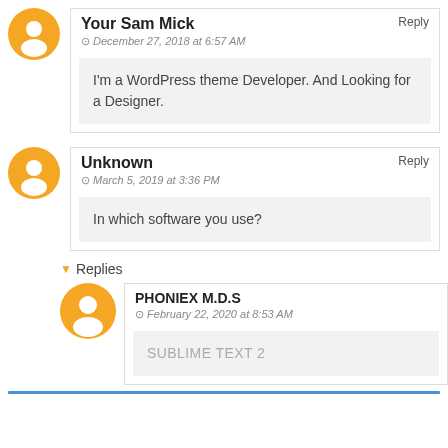Your Sam Mick
December 27, 2018 at 6:57 AM
I'm a WordPress theme Developer. And Looking for a Designer.
Unknown
March 5, 2019 at 3:36 PM
In which software you use?
Replies
PHONIEX M.D.S
February 22, 2020 at 8:53 AM
SUBLIME TEXT 2